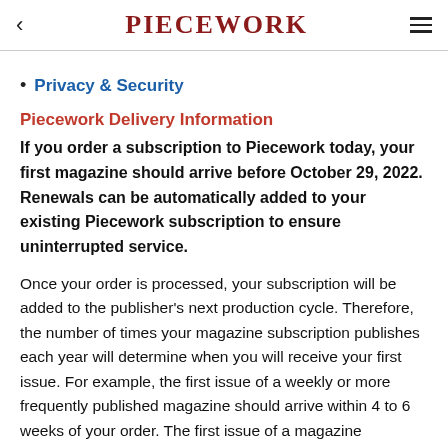< PIECEWORK ≡
Privacy & Security
Piecework Delivery Information
If you order a subscription to Piecework today, your first magazine should arrive before October 29, 2022. Renewals can be automatically added to your existing Piecework subscription to ensure uninterrupted service.
Once your order is processed, your subscription will be added to the publisher's next production cycle. Therefore, the number of times your magazine subscription publishes each year will determine when you will receive your first issue. For example, the first issue of a weekly or more frequently published magazine should arrive within 4 to 6 weeks of your order. The first issue of a magazine published